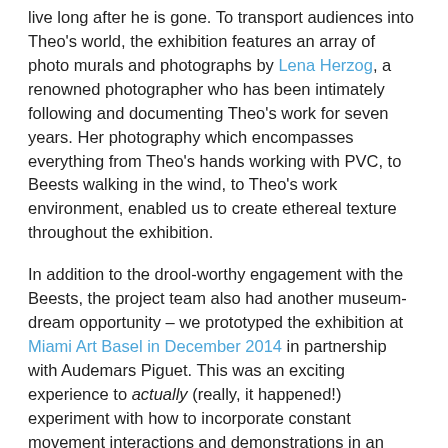live long after he is gone. To transport audiences into Theo's world, the exhibition features an array of photo murals and photographs by Lena Herzog, a renowned photographer who has been intimately following and documenting Theo's work for seven years. Her photography which encompasses everything from Theo's hands working with PVC, to Beests walking in the wind, to Theo's work environment, enabled us to create ethereal texture throughout the exhibition.
In addition to the drool-worthy engagement with the Beests, the project team also had another museum-dream opportunity – we prototyped the exhibition at Miami Art Basel in December 2014 in partnership with Audemars Piguet. This was an exciting experience to actually (really, it happened!) experiment with how to incorporate constant movement interactions and demonstrations in an exhibition experience while also allowing for intimate close looking and space to let curiosity wander. We learned many things through this prototyping phase: from caring for the Beests, to how to effectively create space for interactivity and movement. All of which informed the final presentation at the Peabody Essex Museum.